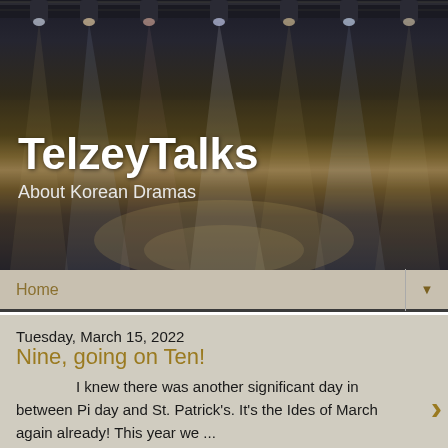[Figure (photo): Stage with dramatic spotlights shining down in blue, white and warm tones against dark background with stage rigging visible at top]
TelzeyTalks
About Korean Dramas
Home ▼
Tuesday, March 15, 2022
Nine, going on Ten!
I knew there was another significant day in between Pi day and St. Patrick's. It's the Ides of March again already! This year we ...
Monday, March 15, 2021
Who would have thought eight years?
The Ides of March has come around again and it's time to take stock. It's hard to believe we've been at this. A is a show from ...